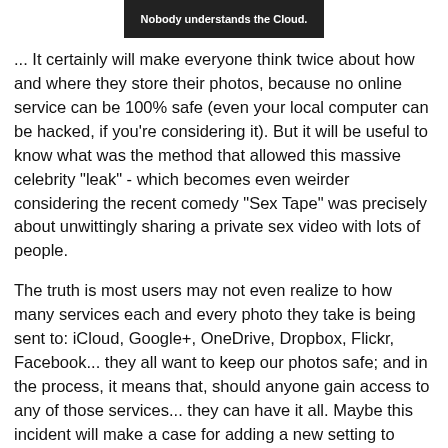[Figure (screenshot): Dark image banner with white bold text reading 'Nobody understands the Cloud.']
... It certainly will make everyone think twice about how and where they store their photos, because no online service can be 100% safe (even your local computer can be hacked, if you're considering it). But it will be useful to know what was the method that allowed this massive celebrity "leak" - which becomes even weirder considering the recent comedy "Sex Tape" was precisely about unwittingly sharing a private sex video with lots of people.
The truth is most users may not even realize to how many services each and every photo they take is being sent to: iCloud, Google+, OneDrive, Dropbox, Flickr, Facebook... they all want to keep our photos safe; and in the process, it means that, should anyone gain access to any of those services... they can have it all. Maybe this incident will make a case for adding a new setting to photos, just like "flash on/off", that will make a photo "private" or not.
Or, maybe we're all wrong, and privacy is really an illusion we better grow out of, and assume everything we do is public for our own good...to stay safe. Would that work?